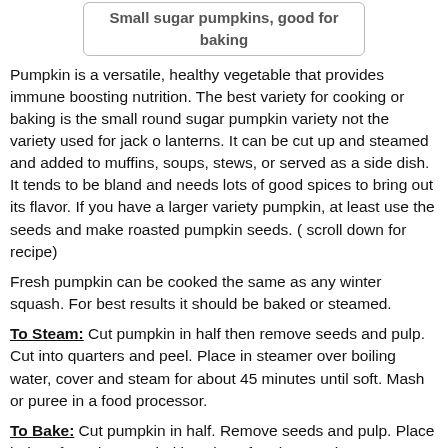Small sugar pumpkins, good for baking
Pumpkin is a versatile, healthy vegetable that provides immune boosting nutrition. The best variety for cooking or baking is the small round sugar pumpkin variety not the variety used for jack o lanterns. It can be cut up and steamed and added to muffins, soups, stews, or served as a side dish. It tends to be bland and needs lots of good spices to bring out its flavor. If you have a larger variety pumpkin, at least use the seeds and make roasted pumpkin seeds. ( scroll down for recipe)
Fresh pumpkin can be cooked the same as any winter squash. For best results it should be baked or steamed.
To Steam: Cut pumpkin in half then remove seeds and pulp. Cut into quarters and peel. Place in steamer over boiling water, cover and steam for about 45 minutes until soft. Mash or puree in a food processor.
To Bake: Cut pumpkin in half. Remove seeds and pulp. Place halves face down on baking sheet for about an hour. Scrape from shell and mash.